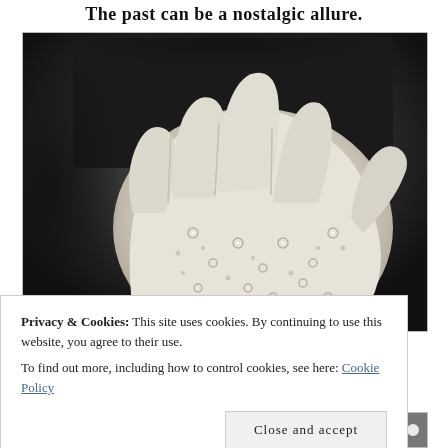The past can be a nostalgic allure.
[Figure (photo): A white decorative glove with embroidery, sequins, and small holes/eyelets, displayed against a dark background inside a bordered frame.]
Privacy & Cookies: This site uses cookies. By continuing to use this website, you agree to their use.
To find out more, including how to control cookies, see here: Cookie Policy
Close and accept
[Figure (photo): Bottom strip showing colorful beaded jewelry/necklaces including green and white beads.]